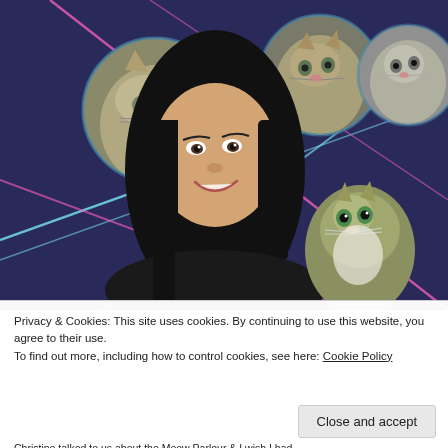[Figure (photo): A woman smiling, with cats floating around her head in circular frames, set against a dark blue background with pink and cyan laser beams crossing. A cat sits on her shoulder in the lower right.]
Privacy & Cookies: This site uses cookies. By continuing to use this website, you agree to their use.
To find out more, including how to control cookies, see here: Cookie Policy
Close and accept
Christine talked to us about the Meow Parlour & I wish I had...